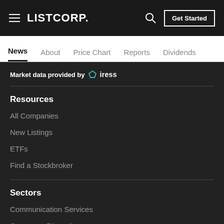LISTCORP.
News | About | Price Chart | Reports | Dividends
Market data provided by iress
Resources
All Companies
New Listings
ETFs
Find a Stockbroker
Sectors
Communication Services
Consumer Discretionary